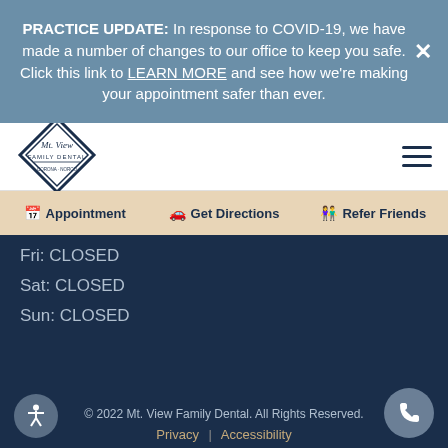PRACTICE UPDATE: In response to COVID-19, we have made a number of changes to our office to keep you safe. Click this link to LEARN MORE and see how we're making your appointment safer than ever.
[Figure (logo): Mt. View Family Dental diamond-shaped logo]
Appointment  Get Directions  Refer Friends
Fri: CLOSED
Sat: CLOSED
Sun: CLOSED
© 2022 Mt. View Family Dental. All Rights Reserved.  Privacy | Accessibility